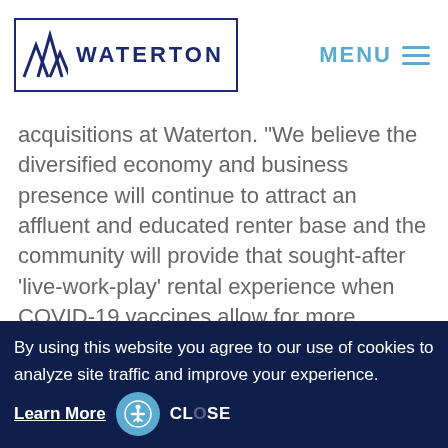WATERTON
acquisitions at Waterton. "We believe the diversified economy and business presence will continue to attract an affluent and educated renter base and the community will provide that sought-after 'live-work-play' rental experience when COVID-19 vaccines allow for more normalized lifestyles."
Residences at OLiVE DTLA feature stainless steel appliances, subway tile backsplashes
By using this website you agree to our use of cookies to analyze site traffic and improve your experience. Learn More CLOSE